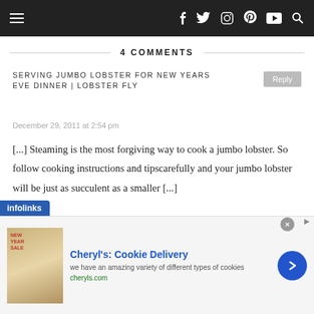Navigation bar with hamburger menu and social icons (f, twitter, instagram, pinterest, youtube, search)
4 COMMENTS
SERVING JUMBO LOBSTER FOR NEW YEARS EVE DINNER | LOBSTER FLY
December 29, 2011 at 2:54 pm
[...] Steaming is the most forgiving way to cook a jumbo lobster. So follow cooking instructions and tipscarefully and your jumbo lobster will be just as succulent as a smaller [...]
[Figure (other): Infolinks advertisement label and Cheryl's Cookie Delivery ad banner with image, title, description, and URL]